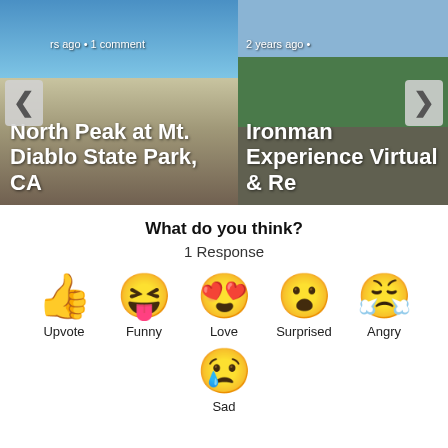[Figure (photo): Carousel with two photo cards. Left card shows aerial mountain/landscape view with text overlay: 'rs ago • 1 comment' and title 'North Peak at Mt. Diablo State Park, CA'. Right card shows garden/outdoor scene with text overlay: '2 years ago •' and title 'Ironman Experience Virtual & Re'. Navigation arrows visible on left and right edges.]
What do you think?
1 Response
[Figure (infographic): Six reaction emoji buttons: Upvote (thumbs up), Funny (laughing face with tongue), Love (heart eyes), Surprised (wide-eyed face), Angry (sleeping/angry face), Sad (crying face)]